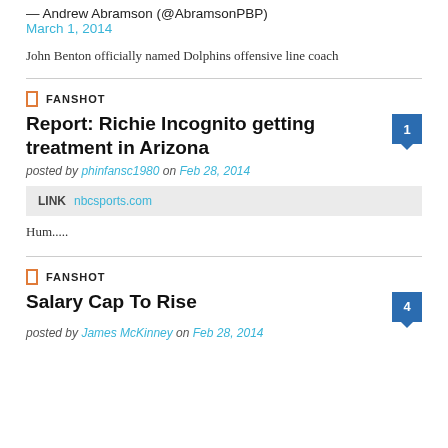— Andrew Abramson (@AbramsonPBP)
March 1, 2014
John Benton officially named Dolphins offensive line coach
FANSHOT
Report: Richie Incognito getting treatment in Arizona
posted by phinfansc1980 on Feb 28, 2014
LINK   nbcsports.com
Hum.....
FANSHOT
Salary Cap To Rise
posted by James McKinney on Feb 28, 2014